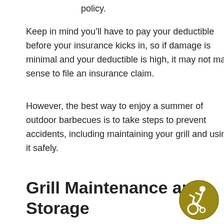policy.
Keep in mind you’ll have to pay your deductible before your insurance kicks in, so if damage is minimal and your deductible is high, it may not make sense to file an insurance claim.
However, the best way to enjoy a summer of outdoor barbecues is to take steps to prevent accidents, including maintaining your grill and using it safely.
Grill Maintenance and Storage
Gas grills are generally safe if they are properly maintained and checked for leaks. In some instances, grills are unsafe due to faulty design or construction. (You can search the website of the Consumer Product Safety Commission to see if